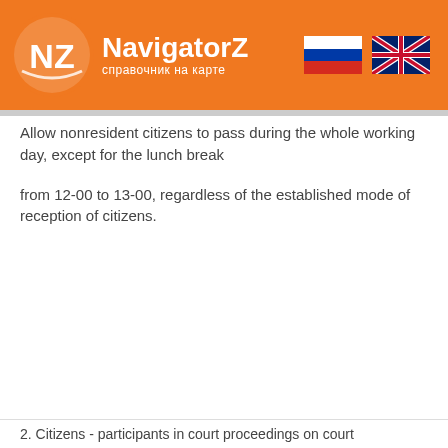[Figure (logo): NavigatorZ logo with orange NZ circle and Russian/UK flag icons]
Allow nonresident citizens to pass during the whole working day, except for the lunch break
from 12-00 to 13-00, regardless of the established mode of reception of citizens.
2. Citizens - participants in court proceedings on court